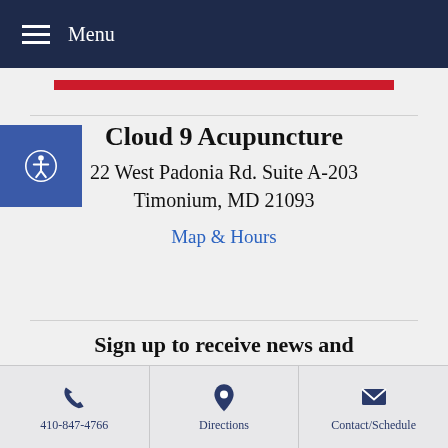Menu
Cloud 9 Acupuncture
22 West Padonia Rd. Suite A-203
Timonium, MD 21093
Map & Hours
Sign up to receive news and updates and get my free report:
“The Top 10 Reasons to Try
410-847-4766 | Directions | Contact/Schedule